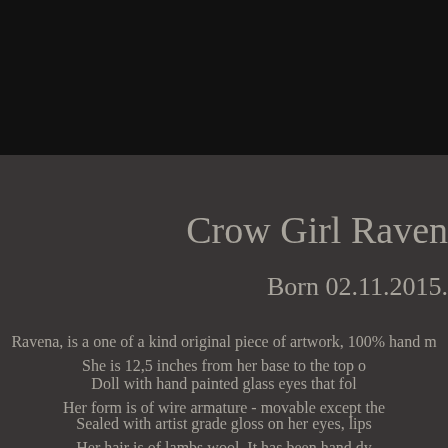[Figure (photo): Dark black background in the upper portion of the page, likely showing a dark artistic photograph]
Crow Girl Raven
Born 02.11.2015.
Ravena, is a one of a kind original piece of artwork, 100% hand m... She is 12,5 inches from her base to the top o...
Doll with hand painted glass eyes that fol... Her form is of wire armature - movable except the...
Sealed with artist grade gloss on her eyes, lips... Her hair is of lambs wool. It has been hand dy... Her hair has been arranged in a beautiful...